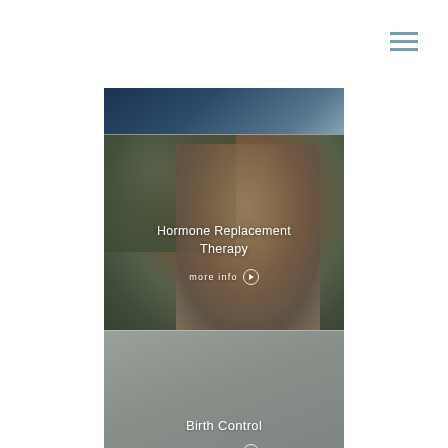[Figure (screenshot): Hamburger menu icon (three horizontal lines) in muted blue-gray color, top right corner]
[Figure (photo): Partial photo of a person in dark clothing, cropped at top of card area]
[Figure (photo): Photo of a smiling woman with dark hair, outdoors with greenery in background, overlaid with text 'Hormone Replacement Therapy' and 'more info' link]
Hormone Replacement Therapy
more info
[Figure (photo): Muted gray-green card section for Birth Control with text overlay]
Birth Control
more info